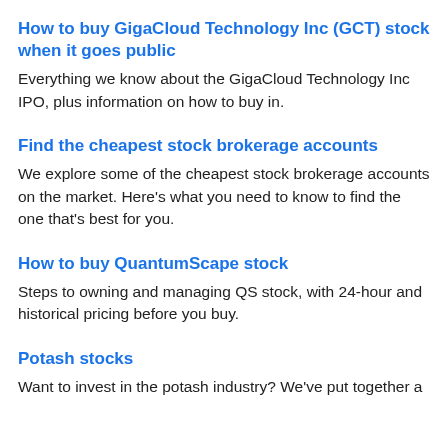How to buy GigaCloud Technology Inc (GCT) stock when it goes public
Everything we know about the GigaCloud Technology Inc IPO, plus information on how to buy in.
Find the cheapest stock brokerage accounts
We explore some of the cheapest stock brokerage accounts on the market. Here's what you need to know to find the one that's best for you.
How to buy QuantumScape stock
Steps to owning and managing QS stock, with 24-hour and historical pricing before you buy.
Potash stocks
Want to invest in the potash industry? We've put together a